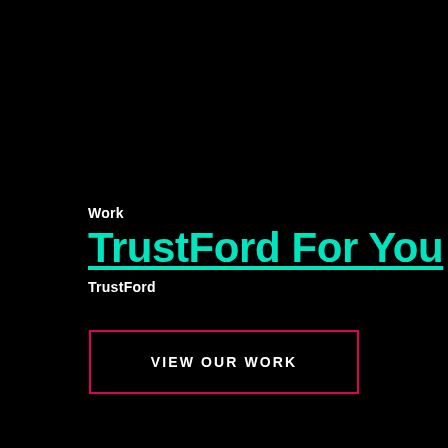Work
TrustFord For You
TrustFord
VIEW OUR WORK